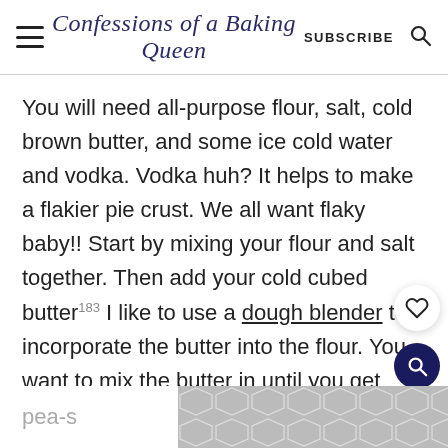Confessions of a Baking Queen  SUBSCRIBE
You will need all-purpose flour, salt, cold brown butter, and some ice cold water and vodka. Vodka huh? It helps to make a flakier pie crust. We all want flaky baby!! Start by mixing your flour and salt together. Then add your cold cubed butter. I like to use a dough blender to incorporate the butter into the flour. You want to mix the butter in until you get pea-s…